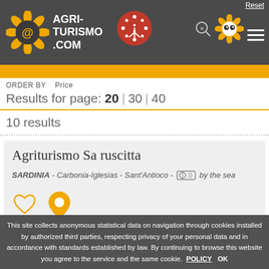[Figure (screenshot): Agriturismo.com website header with logo (sunflower with @ symbol), navigation icons including a red circular flower icon, a zoom/search icon, an owl icon, and hamburger menu lines. A Reset link appears top right.]
ORDER BY   Price
Results for page: 20 | 30 | 40
10 results
Agriturismo Sa ruscitta
SARDINIA - Carbonia-Iglesias - Sant'Antioco - by the sea
[Figure (infographic): Heart outline icon (favourite) and map pin/location icon in gold/yellow color]
This site collects anonymous statistical data on navigation through cookies installed by authorized third parties, respecting privacy of your personal data and in accordance with standards established by law. By continuing to browse this website you agree to the service and the same cookie. POLICY   OK